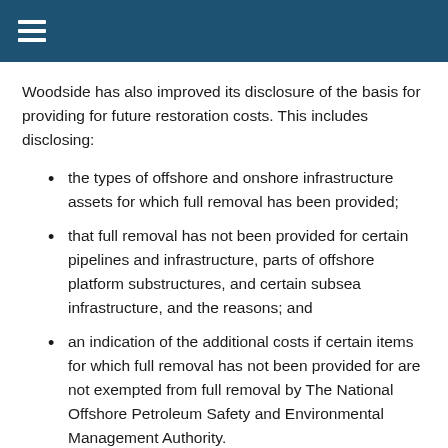Woodside has also improved its disclosure of the basis for providing for future restoration costs. This includes disclosing:
the types of offshore and onshore infrastructure assets for which full removal has been provided;
that full removal has not been provided for certain pipelines and infrastructure, parts of offshore platform substructures, and certain subsea infrastructure, and the reasons; and
an indication of the additional costs if certain items for which full removal has not been provided for are not exempted from full removal by The National Offshore Petroleum Safety and Environmental Management Authority.
As part of its financial reporting surveillance program,